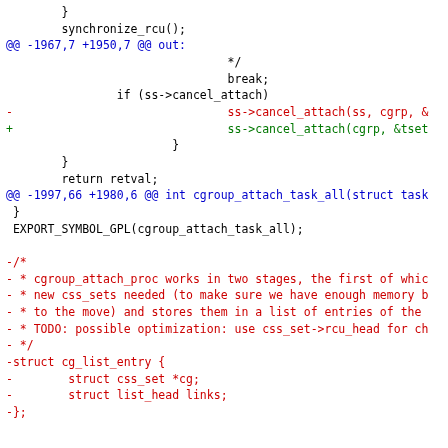Code diff showing cgroup kernel patch with removed functions including cgroup_attach_proc and cg_list_entry struct
[Figure (screenshot): Source code diff view showing kernel C code changes with color-coded additions (green), removals (red), and context/diff headers (blue)]